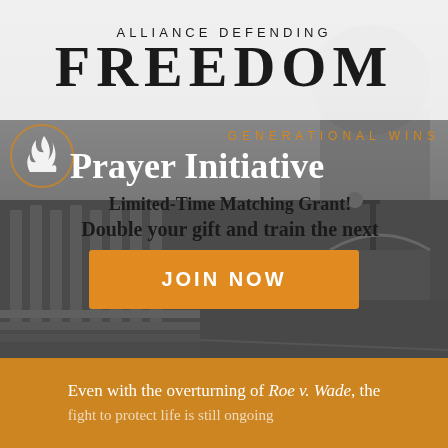ALLIANCE DEFENDING FREEDOM
GENERATIONAL WINS
Prayer Initiative
Limited-Time Matching Grant!
Double your gift and train the next
JOIN NOW
Even with the overturning of Roe v. Wade, the fight to protect life is still ongoing...